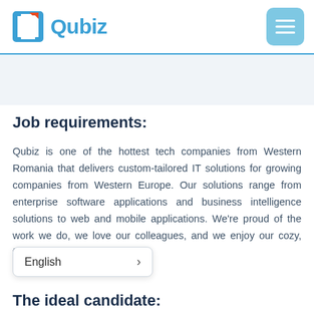Qubiz
Job requirements:
Qubiz is one of the hottest tech companies from Western Romania that delivers custom-tailored IT solutions for growing companies from Western Europe. Our solutions range from enterprise software applications and business intelligence solutions to web and mobile applications. We're proud of the work we do, we love our colleagues, and we enjoy our cozy, friendly offices.